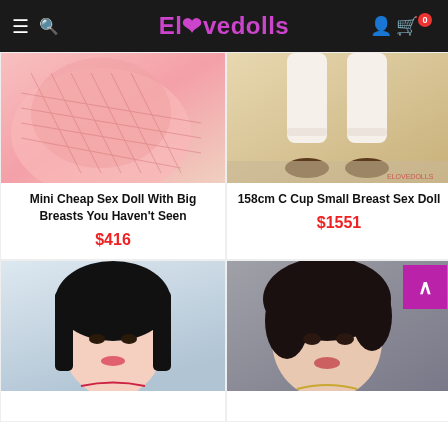Elovedolls
[Figure (photo): Product image: pink fishneet lingerie on doll body]
Mini Cheap Sex Doll With Big Breasts You Haven't Seen
$416
[Figure (photo): Product image: doll legs in white thigh-high stockings and brown shoes]
158cm C Cup Small Breast Sex Doll
$1551
[Figure (photo): Product image: doll with black hair, close-up face]
[Figure (photo): Product image: doll with dark curly hair, close-up face, with scroll-to-top button overlay]